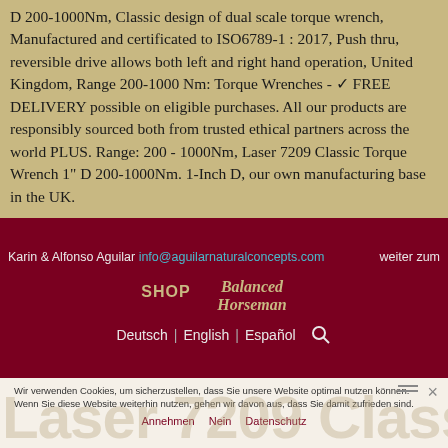D 200-1000Nm, Classic design of dual scale torque wrench, Manufactured and certificated to ISO6789-1 : 2017, Push thru, reversible drive allows both left and right hand operation, United Kingdom, Range 200-1000 Nm: Torque Wrenches - ✓ FREE DELIVERY possible on eligible purchases. All our products are responsibly sourced both from trusted ethical partners across the world PLUS. Range: 200 - 1000Nm, Laser 7209 Classic Torque Wrench 1" D 200-1000Nm. 1-Inch D, our own manufacturing base in the UK.
Karin & Alfonso Aguilar info@aguilarnaturalconcepts.com  weiter zum
[Figure (logo): Balanced Horseman logo with SHOP text]
Deutsch | English | Español
Wir verwenden Cookies, um sicherzustellen, dass Sie unsere Website optimal nutzen können. Wenn Sie diese Website weiterhin nutzen, gehen wir davon aus, dass Sie damit zufrieden sind.
Annehmen  Nein  Datenschutz
Laser 7209 Classic